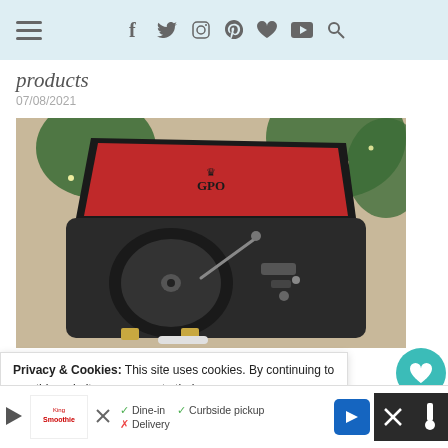Navigation bar with hamburger menu and social icons: f, twitter, instagram, pinterest, heart, youtube, search
products
07/08/2021
[Figure (photo): GPO branded suitcase-style record player/turntable with red interior lid, black body with gold clasps, sitting near a Christmas tree]
Privacy & Cookies: This site uses cookies. By continuing to use this website, you agree to their use.
To find out more, including how to control cookies, see here: Co
Policy
33
✓ Dine-in   ✓ Curbside pickup   ✗ Delivery